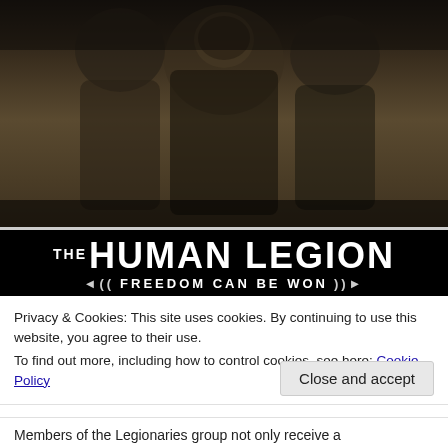[Figure (illustration): Sepia-toned illustration of figures in historical/fantasy costumes, appears to be book cover art for 'The Human Legion' series. Dark, dramatic artwork showing multiple characters.]
THE HUMAN LEGION — FREEDOM CAN BE WON
Privacy & Cookies: This site uses cookies. By continuing to use this website, you agree to their use.
To find out more, including how to control cookies, see here: Cookie Policy
Close and accept
Members of the Legionaries group not only receive a